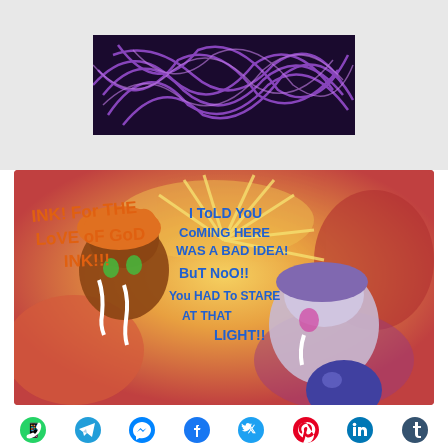[Figure (illustration): Purple abstract scribble/tangled lines artwork on dark background, cropped at top of page]
[Figure (illustration): Comic/fan art illustration of two cartoon characters (Splatoon-style) with speech bubbles. Left character with orange hair says 'INK! FOR THE LOVE OF GOD INK!!!' in orange text. Right character with purple hair says 'I TOLD YOU COMING HERE WAS A BAD IDEA! BUT NOO!! YOU HAD TO STARE AT THAT LIGHT!!' in blue text. Colorful background with firework/explosion effect.]
[Figure (infographic): Social media share bar with icons for WhatsApp, Telegram, Messenger, Facebook, Twitter, Pinterest, LinkedIn, and Tumblr]